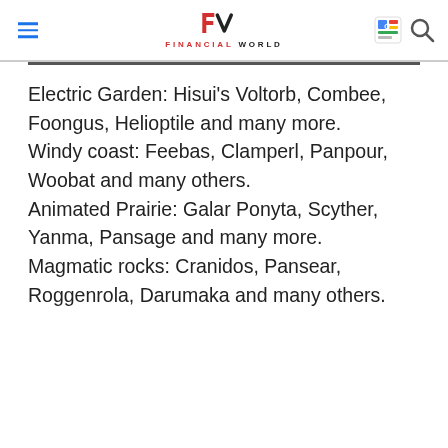FINANCIAL WORLD
Electric Garden: Hisui's Voltorb, Combee, Foongus, Helioptile and many more. Windy coast: Feebas, Clamperl, Panpour, Woobat and many others. Animated Prairie: Galar Ponyta, Scyther, Yanma, Pansage and many more. Magmatic rocks: Cranidos, Pansear, Roggenrola, Darumaka and many others.